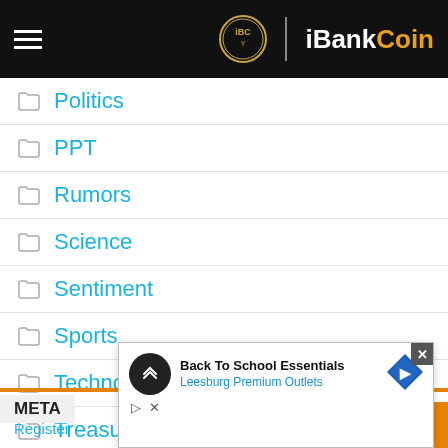iBankCoin
Politics
PPT
Rumors
Science
Sentiment
Sports
Technology
Treasurys
Uncategorized
Wo...
META
Register
[Figure (screenshot): Advertisement overlay: Back To School Essentials - Leesburg Premium Outlets]